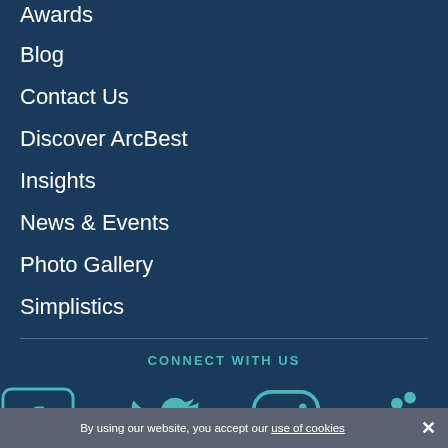Awards
Blog
Contact Us
Discover ArcBest
Insights
News & Events
Photo Gallery
Simplistics
CONNECT WITH US
[Figure (infographic): Social media icons: Facebook, Twitter, Instagram, LinkedIn rendered as teal outline icons on dark navy background]
By using our website, you accept our use of cookies ×